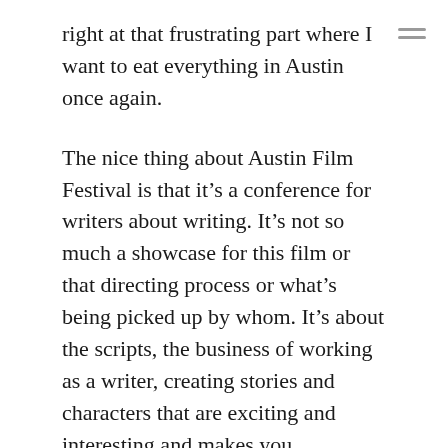right at that frustrating part where I want to eat everything in Austin once again.
The nice thing about Austin Film Festival is that it's a conference for writers about writing. It's not so much a showcase for this film or that directing process or what's being picked up by whom. It's about the scripts, the business of working as a writer, creating stories and characters that are exciting and interesting and makes you simultaneously want to be a better writer and think you'll never amount to anything. I like that kind of inspiration. Because it's always fun to work when you're trying to beat the odds.
I spoke on a number of panels, and I think they mostly went well. I went to a lot of parties and